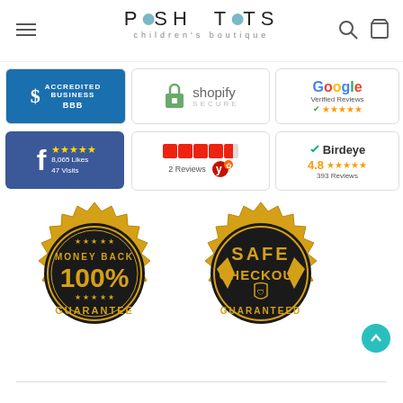[Figure (logo): Posh Tots children's boutique logo with hamburger menu, search and cart icons]
[Figure (infographic): BBB Accredited Business badge (blue)]
[Figure (infographic): Shopify Secure badge with padlock icon]
[Figure (infographic): Google Verified Reviews badge with 5 stars]
[Figure (infographic): Facebook 8,065 Likes 47 Visits badge with 5 stars]
[Figure (infographic): Yelp 2 Reviews badge with 4.5 stars]
[Figure (infographic): Birdeye 4.8 stars 393 Reviews badge]
[Figure (infographic): Money Back 100% Guarantee gold seal]
[Figure (infographic): Safe Checkout Guaranteed black and gold seal]